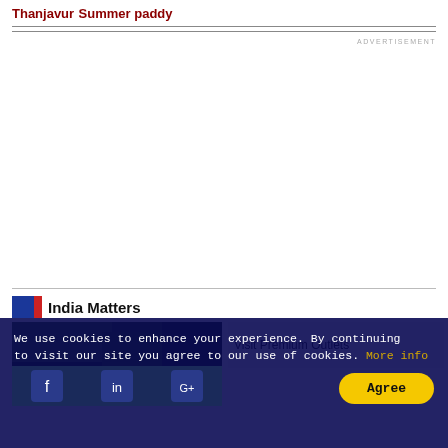Thanjavur    Summer paddy
ADVERTISEMENT
India Matters
[Figure (photo): Outdoor nature/greenery photo thumbnail]
Visit Premium Outlets
We use cookies to enhance your experience. By continuing to visit our site you agree to our use of cookies. More info
Agree